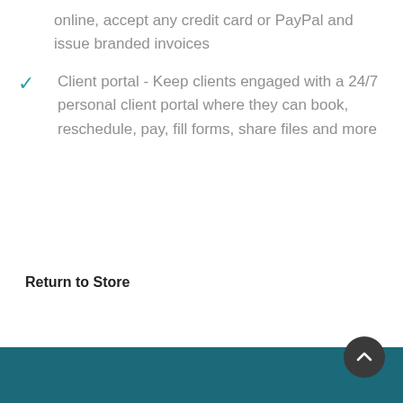online, accept any credit card or PayPal and issue branded invoices
Client portal - Keep clients engaged with a 24/7 personal client portal where they can book, reschedule, pay, fill forms, share files and more
Return to Store
[Figure (other): Teal footer bar with dark circular scroll-to-top button containing an upward arrow]